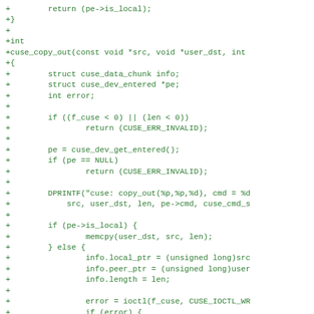[Figure (screenshot): Source code diff showing C code additions for cuse_copy_out function and related structures, displayed in green monospace font on white background]